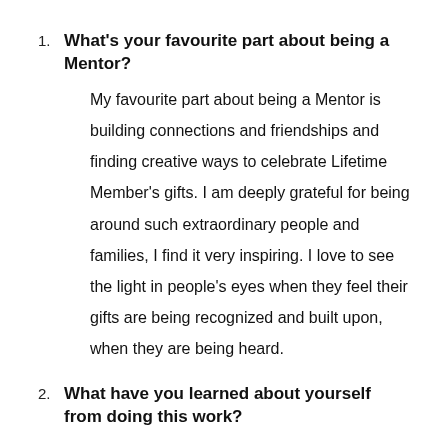1. What's your favourite part about being a Mentor?
My favourite part about being a Mentor is building connections and friendships and finding creative ways to celebrate Lifetime Member's gifts. I am deeply grateful for being around such extraordinary people and families, I find it very inspiring. I love to see the light in people's eyes when they feel their gifts are being recognized and built upon, when they are being heard.
2. What have you learned about yourself from doing this work?